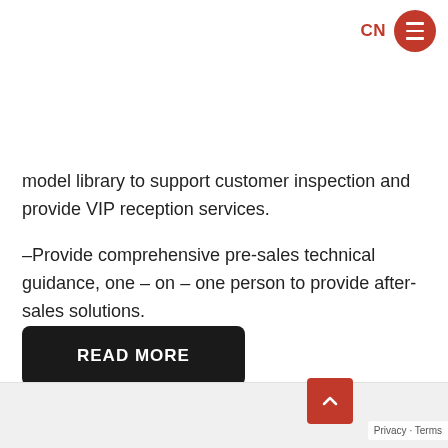CN
model library to support customer inspection and provide VIP reception services.
–Provide comprehensive pre-sales technical guidance, one – on – one person to provide after-sales solutions.
READ MORE
Privacy · Terms